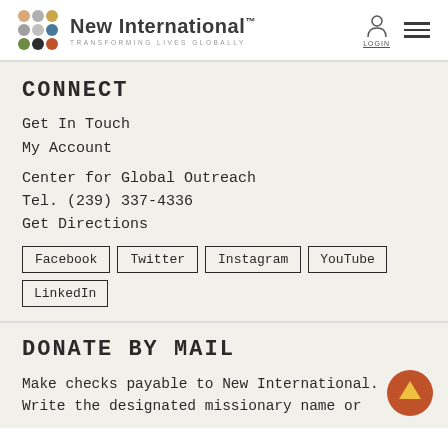[Figure (logo): New International logo with colorful dot cluster and text 'New International - Transforming Lives Globally']
CONNECT
Get In Touch
My Account
Center for Global Outreach
Tel. (239) 337-4336
Get Directions
Facebook
Twitter
Instagram
YouTube
LinkedIn
DONATE BY MAIL
Make checks payable to New International. Write the designated missionary name or